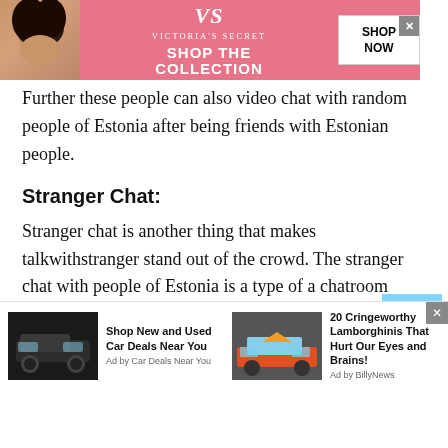[Figure (screenshot): Victoria's Secret advertisement banner with model image, VS logo, 'SHOP THE COLLECTION' text, and 'SHOP NOW' button]
Further these people can also video chat with random people of Estonia after being friends with Estonian people.
Stranger Chat:
Stranger chat is another thing that makes talkwithstranger stand out of the crowd. The stranger chat with people of Estonia is a type of a chatroom where you get to chat with a stranger who you have never met in your life. You can also use the
[Figure (screenshot): Bottom advertisement bar with two ads: 'Shop New and Used Car Deals Near You' (Ad by Car Deals Near You) and '20 Cringeworthy Lamborghinis That Hurt Our Eyes and Brains!' (Ad by BillyNews)]